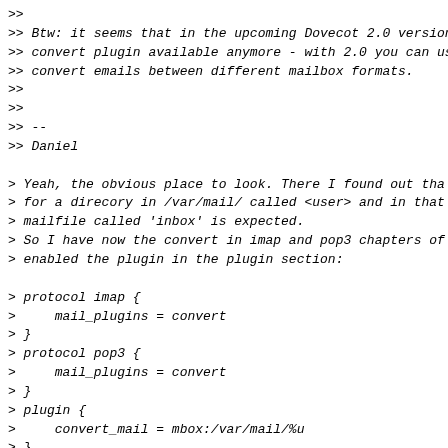>>
>> Btw: it seems that in the upcoming Dovecot 2.0 version
>> convert plugin available anymore - with 2.0 you can us
>> convert emails between different mailbox formats.
>>
>>
>> --
>> Daniel

> Yeah, the obvious place to look. There I found out tha
> for a direcory in /var/mail/ called <user> and in that
> mailfile called 'inbox' is expected.
> So I have now the convert in imap and pop3 chapters of
> enabled the plugin in the plugin section:

> protocol imap {
>     mail_plugins = convert
> }
> protocol pop3 {
>     mail_plugins = convert
> }
> plugin {
>     convert_mail = mbox:/var/mail/%u
> }

> So things finally start to work. Only the rename of the
> directory doesn't work yet. Wrong owner. I made /var/ma
> vmail:vmail but that is not good. Maybe it should be ow
> Who is the owner of the convert process?

> El...